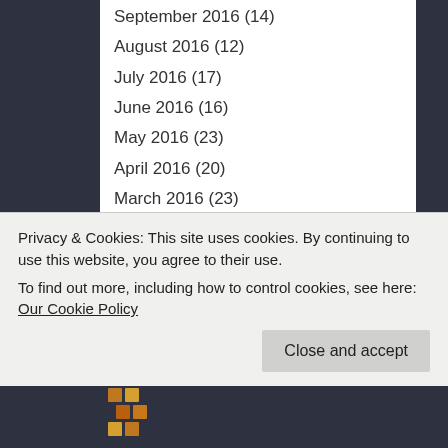September 2016 (14)
August 2016 (12)
July 2016 (17)
June 2016 (16)
May 2016 (23)
April 2016 (20)
March 2016 (23)
February 2016 (23)
January 2016 (20)
December 2015 (17)
November 2015 (23)
October 2015 (21)
September 2015 (16)
Privacy & Cookies: This site uses cookies. By continuing to use this website, you agree to their use.
To find out more, including how to control cookies, see here: Our Cookie Policy